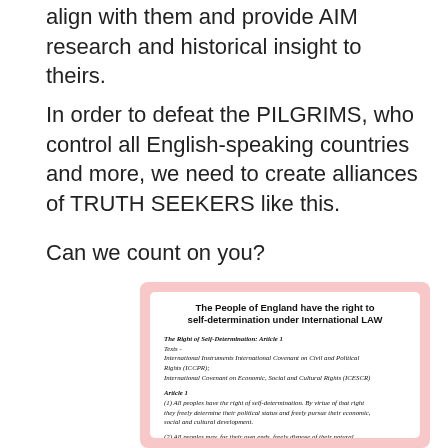align with them and provide AIM research and historical insight to theirs.
In order to defeat the PILGRIMS, who control all English-speaking countries and more, we need to create alliances of TRUTH SEEKERS like this.
Can we count on you?
[Figure (infographic): Pink-bordered box with white inner area. Title: 'The People of England have the right to self-determination under International LAW'. Contains italic text about The Right of Self-Determination Article 1, referencing ICCPR and ICESCR, and Article 1 text about all peoples having the right of self-determination.]